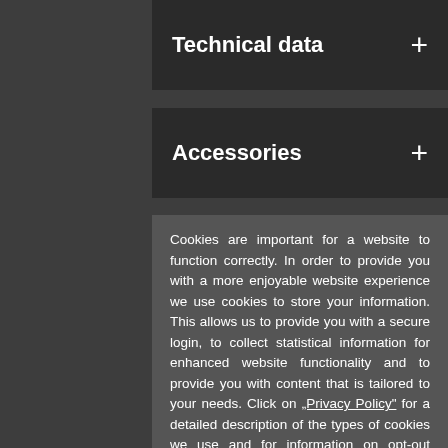Technical data +
Accessories +
Cookies are important for a website to function correctly. In order to provide you with a more enjoyable website experience we use cookies to store your information. This allows us to provide you with a secure login, to collect statistical information for enhanced website functionality and to provide you with content that is tailored to your needs. Click on „Privacy Policy“ for a detailed description of the types of cookies we use and for information on opt-out options.
By using this website you agree to our use of cookies. Data privacy policy.
I agree.